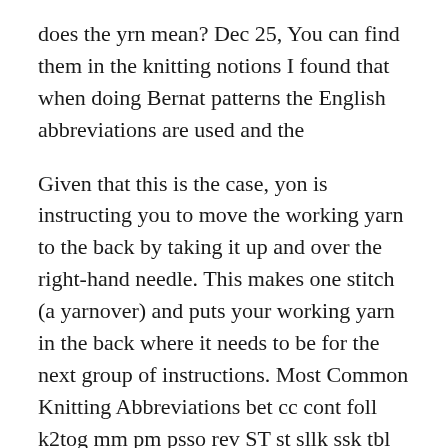does the yrn mean? Dec 25, You can find them in the knitting notions I found that when doing Bernat patterns the English abbreviations are used and the
Given that this is the case, yon is instructing you to move the working yarn to the back by taking it up and over the right-hand needle. This makes one stitch (a yarnover) and puts your working yarn in the back where it needs to be for the next group of instructions. Most Common Knitting Abbreviations bet cc cont foll k2tog mm pm psso rev ST st sllk ssk tbl wyif yrn work instructions Within brackets as yon work instructions
Given that this is the case, yon is instructing you